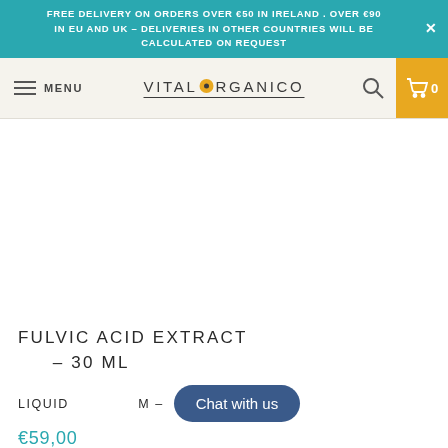FREE DELIVERY ON ORDERS OVER €50 IN IRELAND . OVER €90 IN EU AND UK – DELIVERIES IN OTHER COUNTRIES WILL BE CALCULATED ON REQUEST
[Figure (logo): Vital Organico logo with yellow dot between VITAL and RGANICO, underlined]
FULVIC ACID EXTRACT – 30 ML
LIQUID [partially obscured] M –
Chat with us
€59,00
ADD TO CART